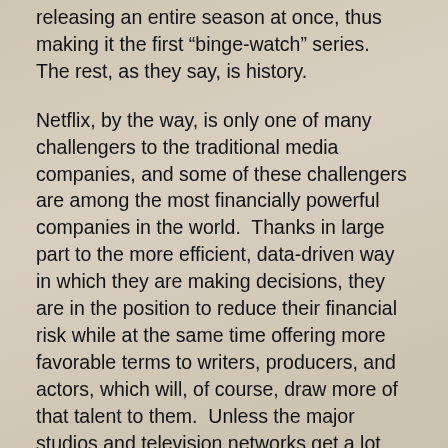releasing an entire season at once, thus making it the first “binge-watch” series.  The rest, as they say, is history.
Netflix, by the way, is only one of many challengers to the traditional media companies, and some of these challengers are among the most financially powerful companies in the world.  Thanks in large part to the more efficient, data-driven way in which they are making decisions, they are in the position to reduce their financial risk while at the same time offering more favorable terms to writers, producers, and actors, which will, of course, draw more of that talent to them.  Unless the major studios and television networks get a lot better at deciding what to produce and how to produce it, they run the risk of losing out to these smart, new